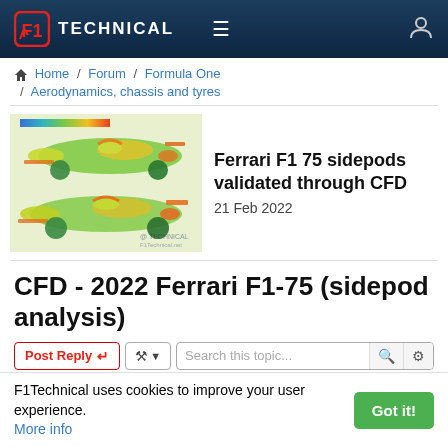F1 Technical
Home / Forum / Formula One / Aerodynamics, chassis and tyres
[Figure (photo): CFD visualization of Ferrari F1-75 car showing aerodynamic pressure/velocity distribution in green, yellow, and orange heat-map colors. Two views of the car are shown stacked.]
Ferrari F1 75 sidepods validated through CFD
21 Feb 2022
CFD - 2022 Ferrari F1-75 (sidepod analysis)
Post Reply  207 posts  1  2  3  4  5  ...
F1Technical uses cookies to improve your user experience. More info
Got it!